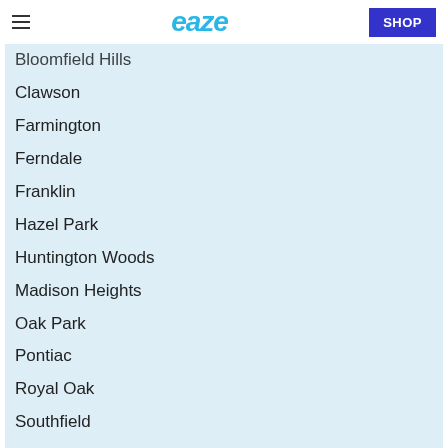eaze  SHOP
Bloomfield Hills
Clawson
Farmington
Ferndale
Franklin
Hazel Park
Huntington Woods
Madison Heights
Oak Park
Pontiac
Royal Oak
Southfield
Troy
Wayne County
Allen Park